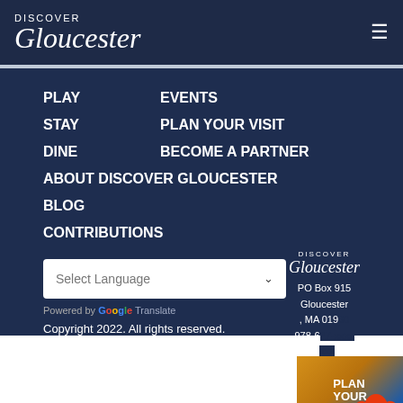Discover Gloucester
PLAY
EVENTS
STAY
PLAN YOUR VISIT
DINE
BECOME A PARTNER
ABOUT DISCOVER GLOUCESTER
BLOG
CONTRIBUTIONS
Select Language
Powered by Google Translate
Copyright 2022. All rights reserved.
PO Box 915 Gloucester, MA 019.. 978-6... Pri... Po...
[Figure (illustration): Plan Your Visit lobster mascot illustration overlay]